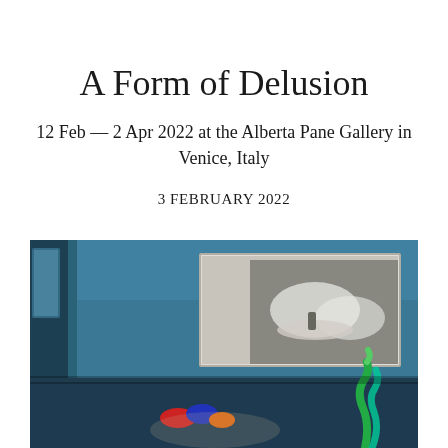A Form of Delusion
12 Feb — 2 Apr 2022 at the Alberta Pane Gallery in Venice, Italy
3 FEBRUARY 2022
[Figure (photo): Gallery installation view showing a blue-walled room with a large video screen displaying hands working with objects, and colorful sculptural objects on the floor including what appears to be twisted glass or ceramic pieces]